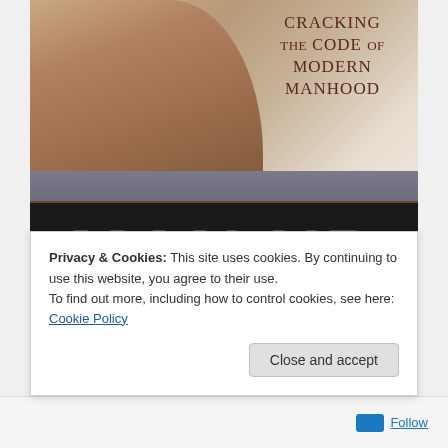[Figure (photo): Book cover of 'Man Up: Cracking the Code of Modern Manhood'. Shows a young man's face and upper body wearing a grey t-shirt against a warm-toned background. Large distressed 'MAN UP' text on black banner at bottom. Subtitle 'Cracking the Code of Modern Manhood' in dark red uppercase text at top right.]
Privacy & Cookies: This site uses cookies. By continuing to use this website, you agree to their use.
To find out more, including how to control cookies, see here: Cookie Policy